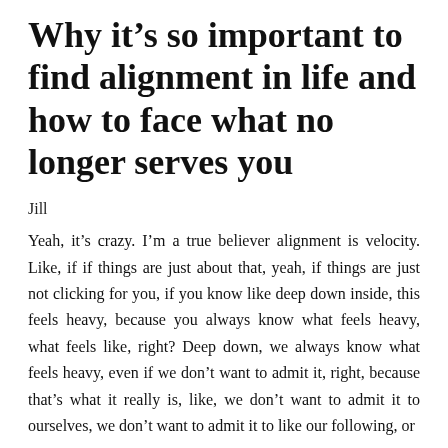Why it's so important to find alignment in life and how to face what no longer serves you
Jill
Yeah, it's crazy. I'm a true believer alignment is velocity. Like, if if things are just about that, yeah, if things are just not clicking for you, if you know like deep down inside, this feels heavy, because you always know what feels heavy, what feels like, right? Deep down, we always know what feels heavy, even if we don't want to admit it, right, because that's what it really is, like, we don't want to admit it to ourselves, we don't want to admit it to like our following, or